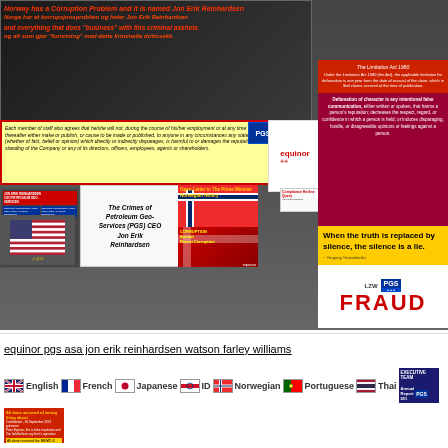[Figure (infographic): Collage of documents and images related to corruption allegations against Jon Erik Reinhardsen, PGS CEO, including Norwegian flag imagery, PGS and Equinor logos, a contract clause in yellow highlight, defamation law text, and FRAUD label]
equinor pgs asa jon erik reinhardsen watson farley williams
[Figure (infographic): Row of language flag icons with labels: English, French, Japanese, ID (Korean/Indonesian), Norwegian, Portuguese, Thai, and document thumbnails]
[Figure (infographic): Bottom row of document thumbnails including Annual Report, PGS document, compliance hotline query, and Norwegian-language legal documents]